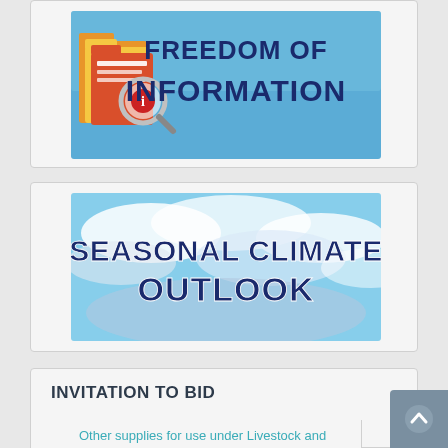[Figure (illustration): Freedom of Information banner with magnifying glass over file folders and bold text 'FREEDOM OF INFORMATION' on blue background]
[Figure (illustration): Seasonal Climate Outlook banner with cloudy sky background and bold text 'SEASONAL CLIMATE OUTLOOK']
INVITATION TO BID
Other supplies for use under Livestock and Poultry Program (Goat and Chicken Production Area)
Agricultural supplies for use under the Diversified Crop-Livestock Project of Research Division
Tires and batteries of service vehicles, truck and